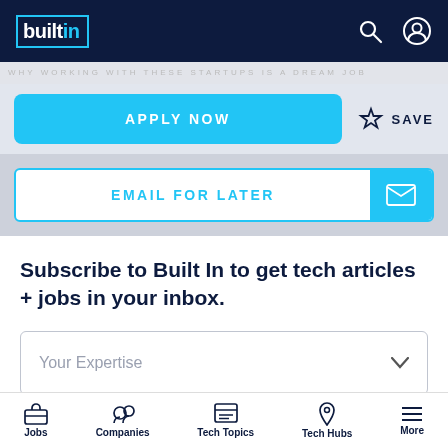Built In
APPLY NOW
SAVE
EMAIL FOR LATER
Subscribe to Built In to get tech articles + jobs in your inbox.
Your Expertise
Jobs  Companies  Tech Topics  Tech Hubs  More